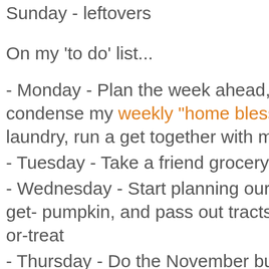Sunday - leftovers
On my 'to do' list...
- Monday - Plan the week ahead, do a super condensed my weekly "home blessing", do a load of laundry, run a get together with my BFFF
- Tuesday - Take a friend grocery shopping
- Wednesday - Start planning our family Christmas get- pumpkin, and pass out tracts and treats to trick-or-treat
- Thursday - Do the November budget and figure first-o
-Friday - Work; make chili for National Bison Day
- Saturday - Work (National Bison Day); set clocks back